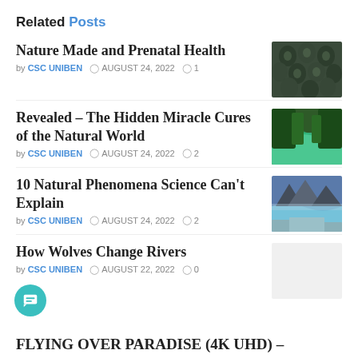Related Posts
Nature Made and Prenatal Health
by CSC UNIBEN  AUGUST 24, 2022  1
[Figure (photo): Overhead view of dark green succulent plants or leaves packed together]
Revealed – The Hidden Miracle Cures of the Natural World
by CSC UNIBEN  AUGUST 24, 2022  2
[Figure (photo): Lush green river or stream flowing through a forested area]
10 Natural Phenomena Science Can't Explain
by CSC UNIBEN  AUGUST 24, 2022  2
[Figure (photo): Mountain lake at dusk with blue tones and rocky foreground]
How Wolves Change Rivers
by CSC UNIBEN  AUGUST 22, 2022  0
FLYING OVER PARADISE (4K UHD) –